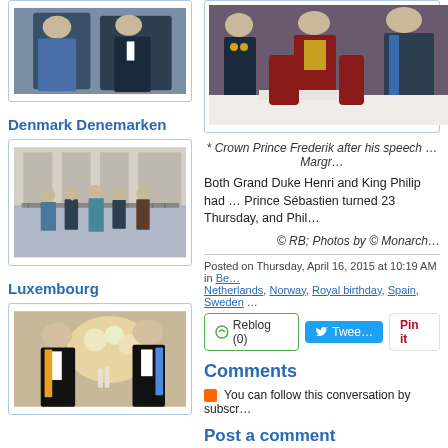[Figure (photo): Two people in formal attire outdoors (top of left sidebar)]
Denmark Denemarken
[Figure (photo): Royal family waving from a balcony]
Luxembourg
[Figure (photo): Two men in formal wear at a dinner event]
[Figure (photo): Formal event with people in royal regalia (top right)]
* Crown Prince Frederik after his speech … Margr…
Both Grand Duke Henri and King Philip had … Prince Sébastien turned 23 Thursday, and Phil…
© RB; Photos by © Monarch…
Posted on Thursday, April 16, 2015 at 10:19 AM in Be… Netherlands, Norway, Royal birthday, Spain, Sweden …
Comments
You can follow this conversation by subscr…
Post a comment